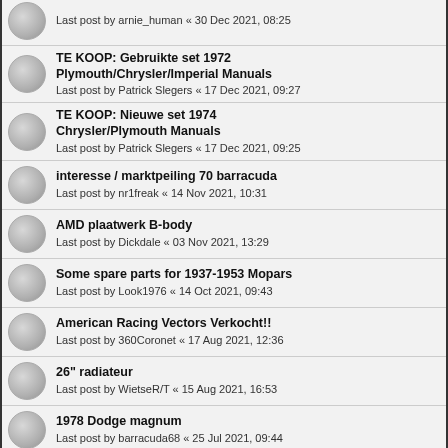Last post by arnie_human « 30 Dec 2021, 08:25
TE KOOP: Gebruikte set 1972 Plymouth/Chrysler/Imperial Manuals
Last post by Patrick Slegers « 17 Dec 2021, 09:27
TE KOOP: Nieuwe set 1974 Chrysler/Plymouth Manuals
Last post by Patrick Slegers « 17 Dec 2021, 09:25
interesse / marktpeiling 70 barracuda
Last post by nr1freak « 14 Nov 2021, 10:31
AMD plaatwerk B-body
Last post by Dickdale « 03 Nov 2021, 13:29
Some spare parts for 1937-1953 Mopars
Last post by Look1976 « 14 Oct 2021, 09:43
American Racing Vectors Verkocht!!
Last post by 360Coronet « 17 Aug 2021, 12:36
26" radiateur
Last post by WietseR/T « 15 Aug 2021, 16:53
1978 Dodge magnum
Last post by barracuda68 « 25 Jul 2021, 09:44